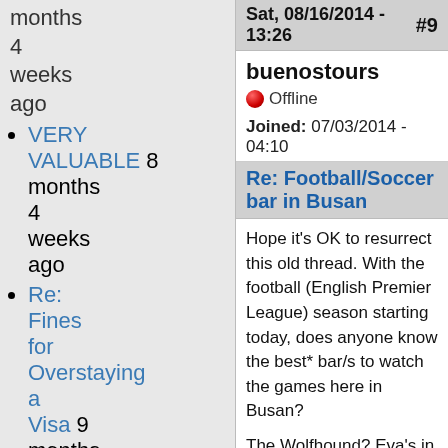months 4 weeks ago
VERY VALUABLE 8 months 4 weeks ago
Re: Fines for Overstaying a Visa 9 months 1
Sat, 08/16/2014 - 13:26  #9
buenostours
🔴 Offline
Joined: 07/03/2014 - 04:10
Re: Football/Soccer bar in Busan
Hope it's OK to resurrect this old thread. With the football (English Premier League) season starting today, does anyone know the best* bar/s to watch the games here in Busan?
The Wolfhound? Eva's in Kyungsung? Beached? HQ Bar? Anywhere else?
I only arrived recently (big Saints fan), so if anyone wants to get together to watch some games, let me know.